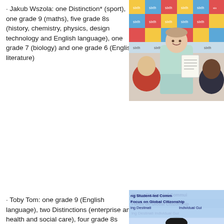· Jakub Wszola: one Distinction* (sport), one grade 9 (maths), five grade 8s (history, chemistry, physics, design technology and English language), one grade 7 (biology) and one grade 6 (English literature)
[Figure (photo): A young male student holding up his results paper, smiling, standing in front of a colourful sixth form branded backdrop. Two other students are partially visible beside him.]
· Toby Tom: one grade 9 (English language), two Distinctions (enterprise and health and social care), four grade 8s (biology,
[Figure (photo): A student holding their results in front of a banner reading 'Young Student-led Community Focus on Global Citizenship, Individual Guide'.]